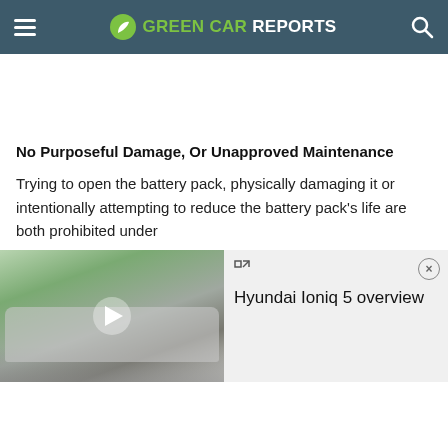GREEN CAR REPORTS
No Purposeful Damage, Or Unapproved Maintenance
Trying to open the battery pack, physically damaging it or intentionally attempting to reduce the battery pack's life are both prohibited under
[Figure (screenshot): Video thumbnail showing a Hyundai Ioniq 5 electric vehicle driving on a road, with a video panel showing title 'Hyundai Ioniq 5 overview']